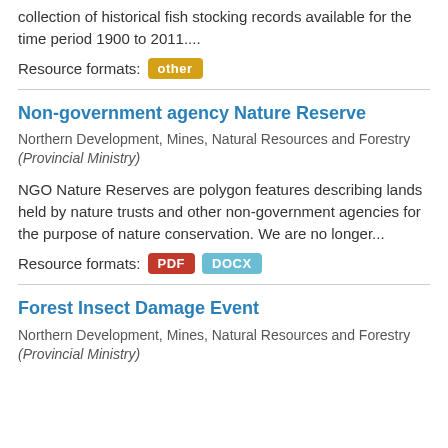collection of historical fish stocking records available for the time period 1900 to 2011....
Resource formats: other
Non-government agency Nature Reserve
Northern Development, Mines, Natural Resources and Forestry (Provincial Ministry)
NGO Nature Reserves are polygon features describing lands held by nature trusts and other non-government agencies for the purpose of nature conservation. We are no longer...
Resource formats: PDF DOCX
Forest Insect Damage Event
Northern Development, Mines, Natural Resources and Forestry (Provincial Ministry)